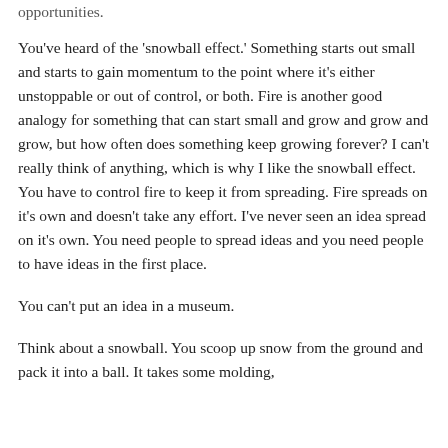opportunities.
You've heard of the 'snowball effect.' Something starts out small and starts to gain momentum to the point where it's either unstoppable or out of control, or both. Fire is another good analogy for something that can start small and grow and grow and grow, but how often does something keep growing forever? I can't really think of anything, which is why I like the snowball effect. You have to control fire to keep it from spreading. Fire spreads on it's own and doesn't take any effort. I've never seen an idea spread on it's own. You need people to spread ideas and you need people to have ideas in the first place.
You can't put an idea in a museum.
Think about a snowball. You scoop up snow from the ground and pack it into a ball. It takes some molding,